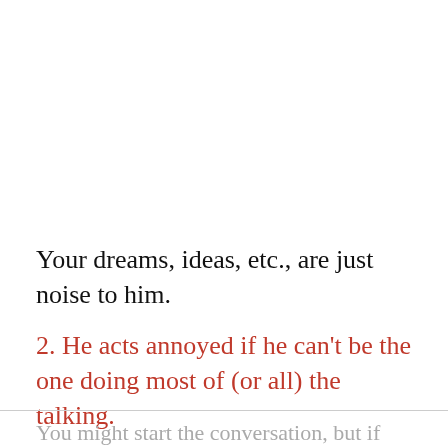Your dreams, ideas, etc., are just noise to him.
2. He acts annoyed if he can't be the one doing most of (or all) the talking.
You might start the conversation, but if